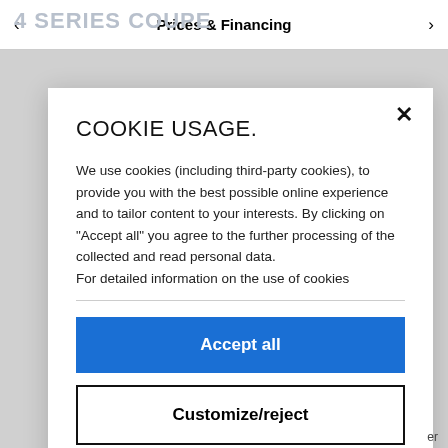< Prices & Financing >
COOKIE USAGE.
We use cookies (including third-party cookies), to provide you with the best possible online experience and to tailor content to your interests. By clicking on "Accept all" you agree to the further processing of the collected and read personal data.
For detailed information on the use of cookies
Accept all
Customize/reject